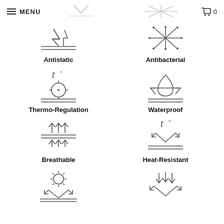MENU  0
[Figure (illustration): Antistatic symbol icon - lines with static discharge]
Antistatic
[Figure (illustration): Antibacterial symbol icon - asterisk/star shape]
Antibacterial
[Figure (illustration): Thermo-Regulation symbol - t degree with crosshair circle on double lines]
Thermo-Regulation
[Figure (illustration): Waterproof symbol - water drop with upward arrows on double lines]
Waterproof
[Figure (illustration): Breathable symbol - upward arrows above and below double lines]
Breathable
[Figure (illustration): Heat-Resistant symbol - t degree with downward arrow on double lines]
Heat-Resistant
[Figure (illustration): Sun with downward arrow on double lines icon]
[Figure (illustration): Multiple downward arrows with upward arrows icon]